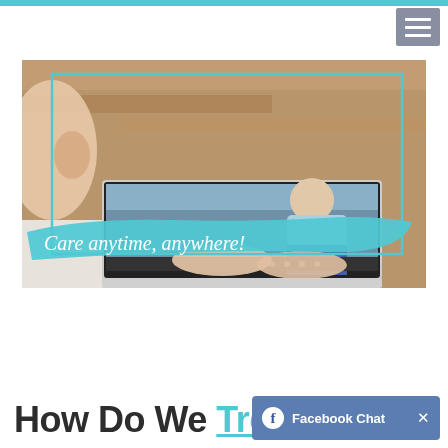[Figure (photo): A person viewed from behind using a laptop for a telehealth consultation. On the laptop screen, a man in a light blue shirt is shown sitting on a sofa holding his back in pain. A cyan/teal rectangular border overlays the image. A blue paint-brush stroke across the bottom contains the text 'Care anytime, anywhere!' in white cursive lettering.]
How Do We Treat?